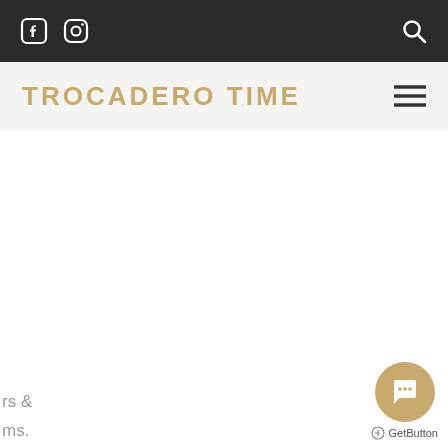Trocadero Time — top navigation bar with social icons and search
TROCADERO TIME
[Figure (screenshot): Main content area of Trocadero Time website — mostly white/blank with partial clipped text on the lower left reading 'rs &', 'ms.', 'mers']
rs &
ms.
mers
[Figure (other): GetButton chat widget: circular gold button with speech bubble icon, and 'GetButton' label below]